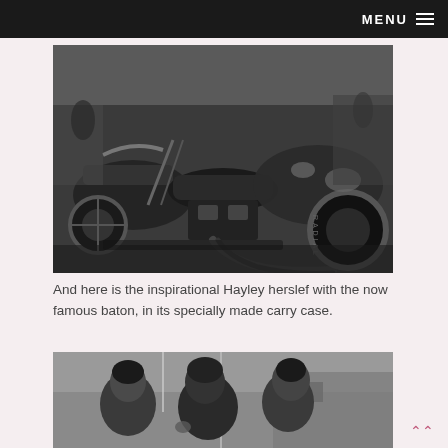MENU
[Figure (photo): Black and white photograph of multiple Harley Davidson motorcycles parked closely together, showing detailed close-up of engines, tires, and chrome parts]
And here is the inspirational Hayley herslef with the now famous baton, in its specially made carry case.
[Figure (photo): Partial photo of people outdoors, showing two or three individuals, cropped at bottom of page]